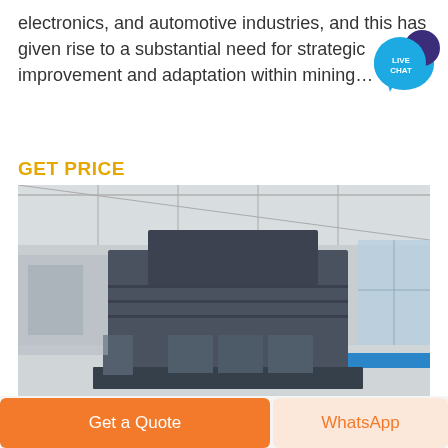electronics, and automotive industries, and this has given rise to a substantial need for strategic improvement and adaptation within mining…
[Figure (illustration): Live Chat speech bubble icon with teal/dark blue color, text LIVE CHAT inside]
GET PRICE
[Figure (photo): Large industrial mining equipment (crusher or mill) on a factory floor inside a large warehouse with industrial lighting and windows]
Customized Mining Equipment Parts Manuf
Get a Quote
WhatsApp